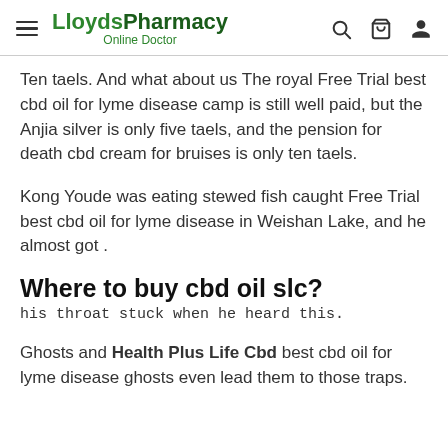LloydsPharmacy Online Doctor
Ten taels. And what about us The royal Free Trial best cbd oil for lyme disease camp is still well paid, but the Anjia silver is only five taels, and the pension for death cbd cream for bruises is only ten taels.
Kong Youde was eating stewed fish caught Free Trial best cbd oil for lyme disease in Weishan Lake, and he almost got .
Where to buy cbd oil slc?
his throat stuck when he heard this.
Ghosts and Health Plus Life Cbd best cbd oil for lyme disease ghosts even lead them to those traps.